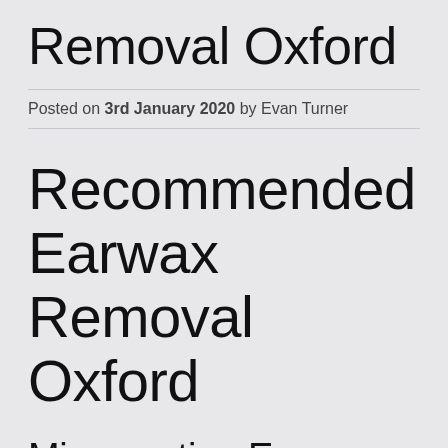Removal Oxford
Posted on 3rd January 2020 by Evan Turner
Recommended Earwax Removal Oxford
Microsuction Earwax Removal Method Oxford